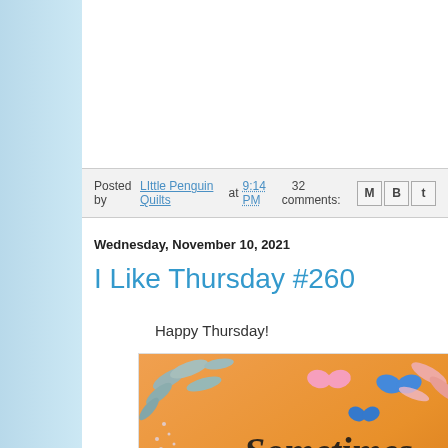Posted by LIttle Penguin Quilts at 9:14 PM   32 comments:
Wednesday, November 10, 2021
I Like Thursday #260
Happy Thursday!
[Figure (illustration): Decorative image with butterflies, leaves, and text reading 'Sometimes we forget that waking up each [day] is the first [blessing]' on an orange/golden gradient background]